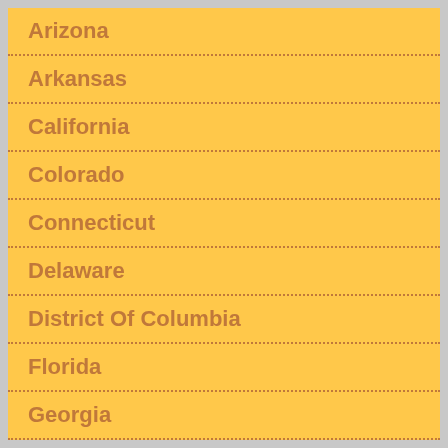Arizona
Arkansas
California
Colorado
Connecticut
Delaware
District Of Columbia
Florida
Georgia
Hawaii
Idaho
Illinois
Indiana
Iowa